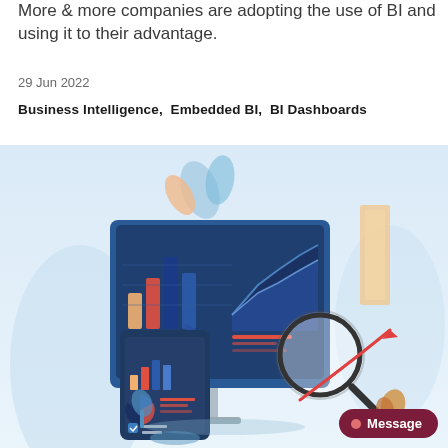More & more companies are adopting the use of BI and using it to their advantage.
29 Jun 2022
Business Intelligence,  Embedded BI,  BI Dashboards
[Figure (illustration): Flat-style illustration of a large desktop monitor showing a BI dashboard with bar charts, an area/line chart, pie chart, and a magnifying glass. A smartphone in front also shows a smaller BI dashboard. Decorative leaves and plant elements in the background, set on a light blue gradient backdrop. A red arrow curves upward to the right.]
Message